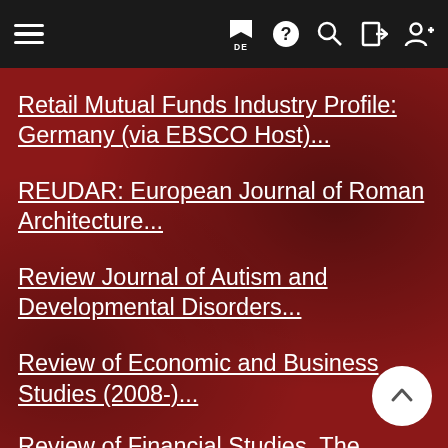[Figure (screenshot): Dark navigation bar with hamburger menu on left, and icons (flag/DE, question mark, search, login, user-add) on right]
Retail Mutual Funds Industry Profile: Germany (via EBSCO Host)...
REUDAR: European Journal of Roman Architecture...
Review Journal of Autism and Developmental Disorders...
Review of Economic and Business Studies (2008-)...
Review of Financial Studies, The (älter...